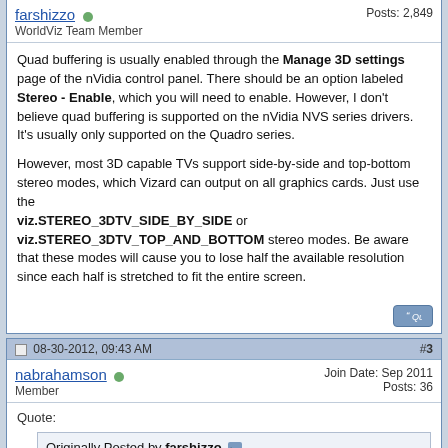farshizzo — WorldViz Team Member — Posts: 2,849
Quad buffering is usually enabled through the Manage 3D settings page of the nVidia control panel. There should be an option labeled Stereo - Enable, which you will need to enable. However, I don't believe quad buffering is supported on the nVidia NVS series drivers. It's usually only supported on the Quadro series.

However, most 3D capable TVs support side-by-side and top-bottom stereo modes, which Vizard can output on all graphics cards. Just use the viz.STEREO_3DTV_SIDE_BY_SIDE or viz.STEREO_3DTV_TOP_AND_BOTTOM stereo modes. Be aware that these modes will cause you to lose half the available resolution since each half is stretched to fit the entire screen.
08-30-2012, 09:43 AM — #3
nabrahamson — Member — Join Date: Sep 2011 — Posts: 36
Quote: Originally Posted by farshizzo — Quad buffering is usually enabled through the Manage 3D settings page of the nVidia control